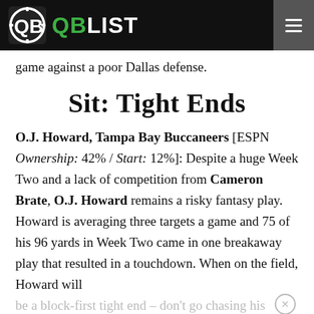QB LIST
game against a poor Dallas defense.
Sit: Tight Ends
O.J. Howard, Tampa Bay Buccaneers [ESPN Ownership: 42% / Start: 12%]: Despite a huge Week Two and a lack of competition from Cameron Brate, O.J. Howard remains a risky fantasy play. Howard is averaging three targets a game and 75 of his 96 yards in Week Two came in one breakaway play that resulted in a touchdown. When on the field, Howard will be a block-first tight end – don't go chasing his Week Two line.